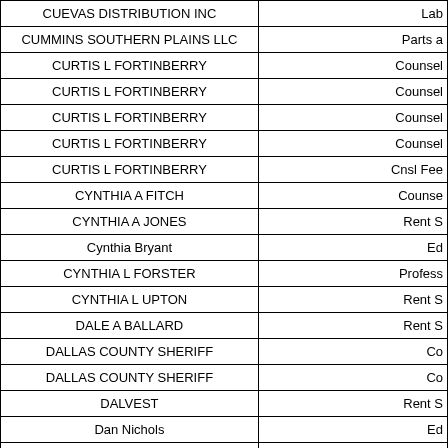| Name | Category |
| --- | --- |
| CUEVAS DISTRIBUTION INC | Lab |
| CUMMINS SOUTHERN PLAINS LLC | Parts a |
| CURTIS L FORTINBERRY | Counsel |
| CURTIS L FORTINBERRY | Counsel |
| CURTIS L FORTINBERRY | Counsel |
| CURTIS L FORTINBERRY | Counsel |
| CURTIS L FORTINBERRY | Cnsl Fee |
| CYNTHIA A FITCH | Counse |
| CYNTHIA A JONES | Rent S |
| Cynthia Bryant | Ed |
| CYNTHIA L FORSTER | Profess |
| CYNTHIA L UPTON | Rent S |
| DALE A BALLARD | Rent S |
| DALLAS COUNTY SHERIFF | Co |
| DALLAS COUNTY SHERIFF | Co |
| DALVEST | Rent S |
| Dan Nichols | Ed |
| DANA A DUFFEY | Counse |
| DANA A DUFFEY | Cnsl Fee |
| DANA PONDT | Rent S |
| Daniel C Heartsill | Ed |
| DANIEL D PHAM | Rent S |
| DANIEL F COLLINS | Counsel |